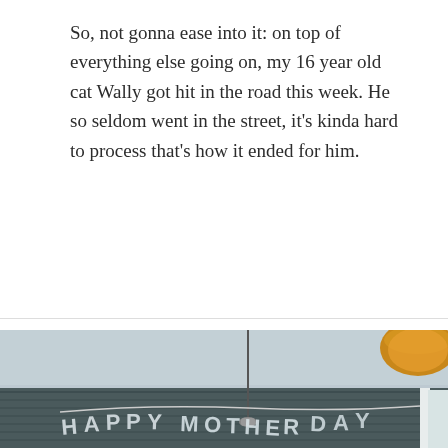So, not gonna ease into it: on top of everything else going on, my 16 year old cat Wally got hit in the road this week. He so seldom went in the street, it's kinda hard to process that's how it ended for him.
Continue reading →
[Figure (photo): Indoor photo showing ceiling with a hanging 'HAPPY MOTHER'S DAY' banner made of paper letters strung together, with a pendant light hanging from the ceiling and a lamp shade visible in the upper right corner.]